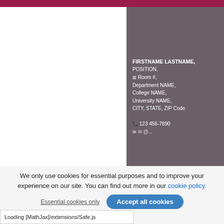[Figure (illustration): Two-column layout template: left white panel and right gray (#6b6068) panel with contact information block for a university faculty member]
FIRSTNAME LASTNAME, POSITION, Room #, Department NAME, College NAME, University NAME, CITY, STATE, ZIP Code
📞 123 456-7890
We only use cookies for essential purposes and to improve your experience on our site. You can find out more in our cookie policy.
Essential cookies only   Accept all cookies
Loading [MathJax]/extensions/Safe.js